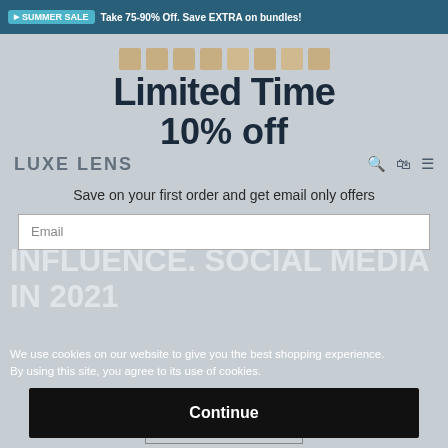SUMMER SALE  Take 75-90% Off. Save EXTRA on bundles!
Limited Time
10% off
Save on your first order and get email only offers
INFLUENCE. SOCIAL MEDIA IN 2021
We use cookies on our website to give you the best shopping experience. By using this site, you agree to its use of cookies.
Continue
I AGREE